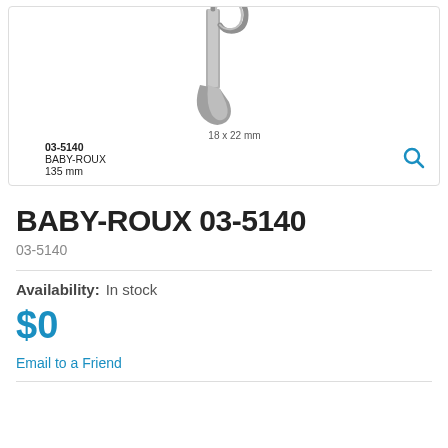[Figure (photo): Medical instrument image: Baby-Roux retractor, 135mm, with 18x22mm blade dimensions shown. Labeled with product code 03-5140, name BABY-ROUX, size 135mm. Search/zoom icon in lower right corner.]
BABY-ROUX 03-5140
03-5140
Availability:  In stock
$0
Email to a Friend